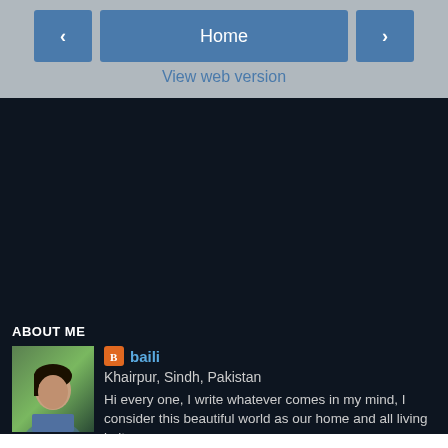< Home >
View web version
[Figure (photo): Dark background area (main blog content area, mostly empty/dark)]
ABOUT ME
[Figure (photo): Profile photo of a woman against green background]
baili
Khairpur, Sindh, Pakistan
Hi every one, I write whatever comes in my mind, I consider this beautiful world as our home and all living in it